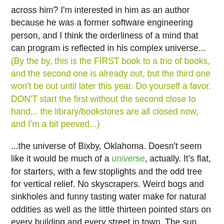across him? I'm interested in him as an author because he was a former software engineering person, and I think the orderliness of a mind that can program is reflected in his complex universe... (By the by, this is the FIRST book to a trio of books, and the second one is already out, but the third one won't be out until later this year. Do yourself a favor. DON'T start the first without the second close to hand... the library/bookstores are all closed now, and I'm a bit peeved...)
...the universe of Bixby, Oklahoma. Doesn't seem like it would be much of a universe, actually. It's flat, for starters, with a few stoplights and the odd tree for vertical relief. No skyscrapers. Weird bogs and sinkholes and funny tasting water make for natural oddities as well as the little thirteen pointed stars on every building and every street in town. The sun seems too bright for some newcomers, and a few folks have been known to have really odd dreams - they blame it on the water. Bixby has bizarre curfew ordinances, too. But none of that makes Bixby really, say special. What makes Bixby special is the The Midnighters. The Secret Hour causes time to stop for everyone in Bixby, but them. Then the world belongs to just a few teens, who are too strange to